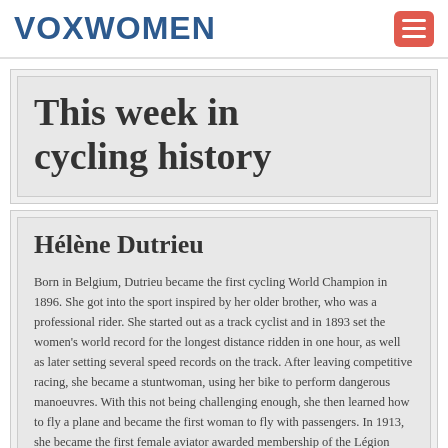VOXWOMEN
This week in cycling history
Hélène Dutrieu
Born in Belgium, Dutrieu became the first cycling World Champion in 1896. She got into the sport inspired by her older brother, who was a professional rider. She started out as a track cyclist and in 1893 set the women's world record for the longest distance ridden in one hour, as well as later setting several speed records on the track. After leaving competitive racing, she became a stuntwoman, using her bike to perform dangerous manoeuvres. With this not being challenging enough, she then learned how to fly a plane and became the first woman to fly with passengers. In 1913, she became the first female aviator awarded membership of the Légion d'honneur. In the meantime, she took on